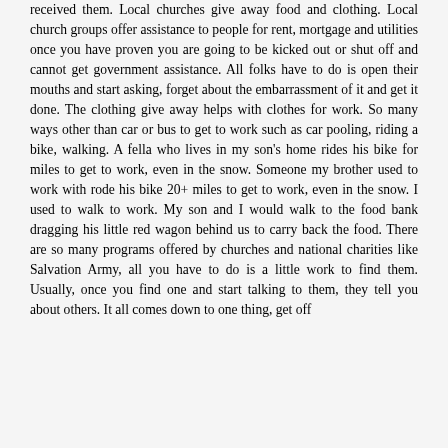received them. Local churches give away food and clothing. Local church groups offer assistance to people for rent, mortgage and utilities once you have proven you are going to be kicked out or shut off and cannot get government assistance. All folks have to do is open their mouths and start asking, forget about the embarrassment of it and get it done. The clothing give away helps with clothes for work. So many ways other than car or bus to get to work such as car pooling, riding a bike, walking. A fella who lives in my son's home rides his bike for miles to get to work, even in the snow. Someone my brother used to work with rode his bike 20+ miles to get to work, even in the snow. I used to walk to work. My son and I would walk to the food bank dragging his little red wagon behind us to carry back the food. There are so many programs offered by churches and national charities like Salvation Army, all you have to do is a little work to find them. Usually, once you find one and start talking to them, they tell you about others. It all comes down to one thing, get off